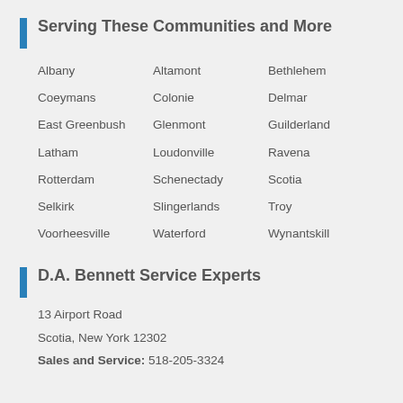Serving These Communities and More
Albany
Altamont
Bethlehem
Coeymans
Colonie
Delmar
East Greenbush
Glenmont
Guilderland
Latham
Loudonville
Ravena
Rotterdam
Schenectady
Scotia
Selkirk
Slingerlands
Troy
Voorheesville
Waterford
Wynantskill
D.A. Bennett Service Experts
13 Airport Road
Scotia, New York 12302
Sales and Service: 518-205-3324